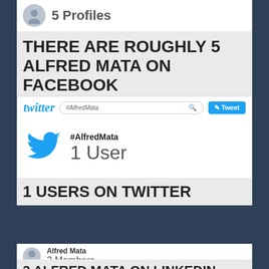[Figure (screenshot): Facebook search result card showing silhouette avatar and '5 Profiles' text]
THERE ARE ROUGHLY 5 ALFRED MATA ON FACEBOOK
[Figure (screenshot): Twitter search bar showing #AlfredMata search with tweet button]
[Figure (screenshot): Twitter search result showing Twitter bird logo, #AlfredMata hashtag, and 1 User count]
1 USERS ON TWITTER
[Figure (screenshot): LinkedIn search bar with In logo, Alfred Mata search, and navigation links]
[Figure (screenshot): LinkedIn result showing avatar, Alfred Mata name, and 3 Members count]
3 ALFRED MATA ON LINKEDIN